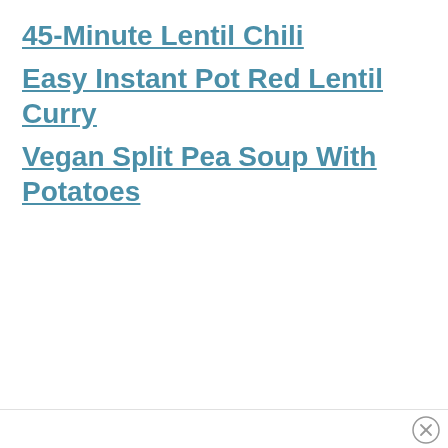45-Minute Lentil Chili
Easy Instant Pot Red Lentil Curry
Vegan Split Pea Soup With Potatoes
×